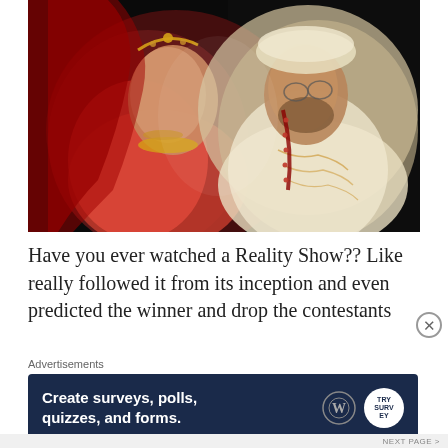[Figure (photo): Indian wedding couple portrait: bride in red lehenga with gold jewelry and red dupatta, groom in cream sherwani with red dupatta, dramatic dark background, close-up intimate pose]
Have you ever watched a Reality Show?? Like really followed it from its inception and even predicted the winner and drop the contestants
Advertisements
Create surveys, polls, quizzes, and forms.